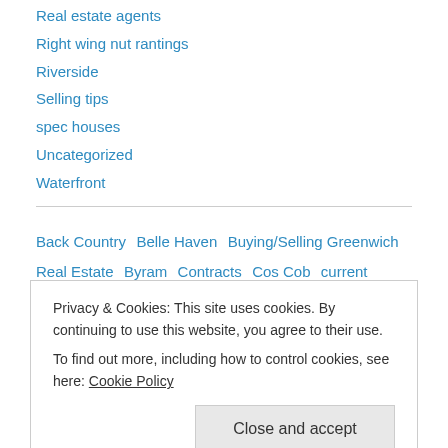Real estate agents
Right wing nut rantings
Riverside
Selling tips
spec houses
Uncategorized
Waterfront
Back Country  Belle Haven  Buying/Selling Greenwich Real Estate  Byram  Contracts  Cos Cob  current market conditions  Downtown Greenwich  Foreclosure  Greenwich Politics  Inventory  Mid Country
Privacy & Cookies: This site uses cookies. By continuing to use this website, you agree to their use.
To find out more, including how to control cookies, see here: Cookie Policy
Close and accept